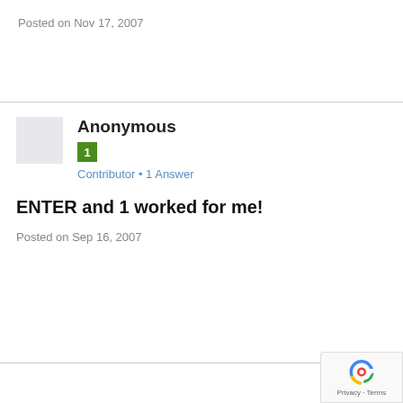Posted on Nov 17, 2007
Anonymous
1
Contributor • 1 Answer
ENTER and 1 worked for me!
Posted on Sep 16, 2007
[Figure (logo): reCAPTCHA badge with Privacy and Terms links]